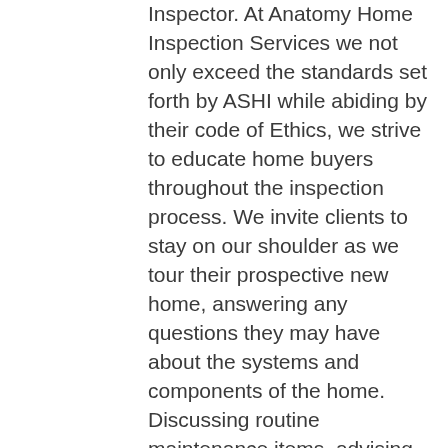Inspector.  At Anatomy Home Inspection Services we not only exceed the standards set forth by ASHI while abiding by their code of Ethics, we strive to educate home buyers throughout the inspection process.  We invite clients to stay on our shoulder as we tour their prospective new home, answering any questions they may have about the systems and components of the home.  Discussing routine maintenance items, advising clients on the typical life expectancy of systems and components of the home,  and providing cost to cure guestimates of issue items discovered during the inspection tour.  We encourage clients to solicit a precise estimate from the appropriate contractor on any issue item of concern.  Our state of the art computer software reporting system is designed to simplify some of the more complicated aspects and functions within the home, including digital photos of issue items along with the narrative